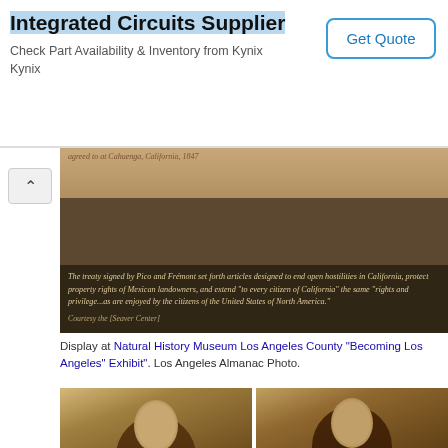[Figure (screenshot): Advertisement banner for Integrated Circuits Supplier - Kynix, with 'Get Quote' button]
[Figure (photo): Museum display at Natural History Museum Los Angeles County showing a plaque about the treaty signed by Pico and Fremont, with text about ending hostilities in California and property rights. Courtesy the [Seaver Center]]
Display at Natural History Museum Los Angeles County "Becoming Los Angeles" Exhibit". Los Angeles Almanac Photo.
[Figure (photo): Two historical portrait photographs side by side: Left: Andres Pico, 1850. Right: John C. Fremont, 1856.]
Left: Andres Pico, 1850. Right: John C. Fremont, 1856.